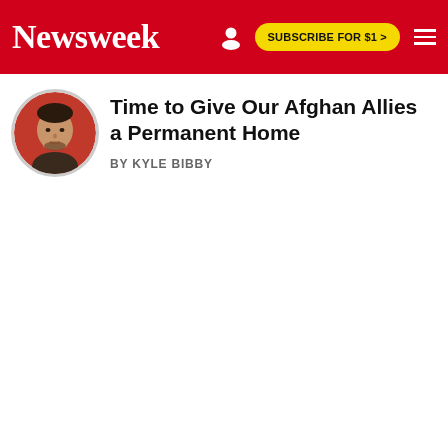Newsweek | SUBSCRIBE FOR $1 >
Time to Give Our Afghan Allies a Permanent Home
BY KYLE BIBBY